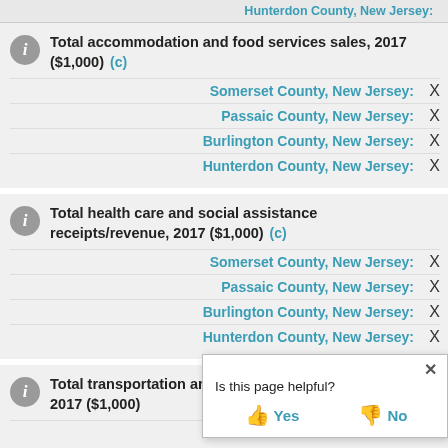Hunterdon County, New Jersey: ...
Total accommodation and food services sales, 2017 ($1,000)  (c)
Somerset County, New Jersey: X
Passaic County, New Jersey: X
Burlington County, New Jersey: X
Hunterdon County, New Jersey: X
Total health care and social assistance receipts/revenue, 2017 ($1,000)  (c)
Somerset County, New Jersey: X
Passaic County, New Jersey: X
Burlington County, New Jersey: X
Hunterdon County, New Jersey: X
Total transportation and warehousing receipts/revenue, 2017 ($1,000)
Somerset County, New Jersey: